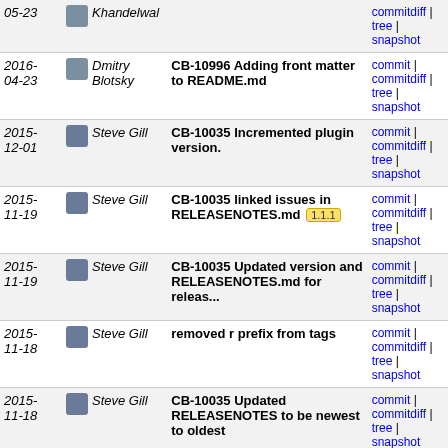| Date | Author | Message | Links |
| --- | --- | --- | --- |
| 05-23 | Khandelwal | (commit message truncated) | commit | commitdiff | tree | snapshot |
| 2016-04-23 | Dmitry Blotsky | CB-10996 Adding front matter to README.md | commit | commitdiff | tree | snapshot |
| 2015-12-01 | Steve Gill | CB-10035 Incremented plugin version. | commit | commitdiff | tree | snapshot |
| 2015-11-19 | Steve Gill | CB-10035 linked issues in RELEASENOTES.md [1.1.1] | commit | commitdiff | tree | snapshot |
| 2015-11-19 | Steve Gill | CB-10035 Updated version and RELEASENOTES.md for releas... | commit | commitdiff | tree | snapshot |
| 2015-11-18 | Steve Gill | removed r prefix from tags | commit | commitdiff | tree | snapshot |
| 2015-11-18 | Steve Gill | CB-10035 Updated RELEASENOTES to be newest to oldest | commit | commitdiff | tree | snapshot |
| 2015-10-23 | Dmitry Blotsky | Actually fixing the contribute link. | commit | commitdiff | tree | snapshot |
| 2015-10-23 | Dmitry Blotsky | Fixing contribute link. | commit | commitdiff | tree | snapshot |
| 2015-06-18 | Steve Gill | CB-9192 Incremented plugin version. CB-9381cordova-plugin-legacy-whitelist | CB-9444cordova-plugin-legacy-whitelist | | commit | commitdiff | tree | snapshot |